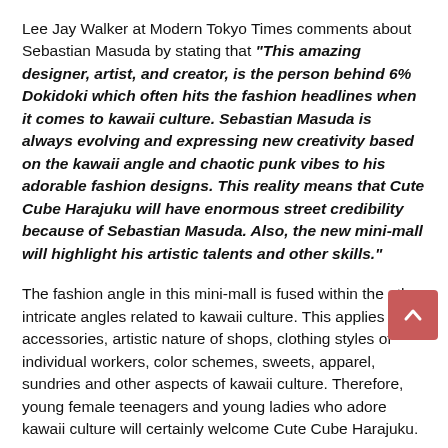Lee Jay Walker at Modern Tokyo Times comments about Sebastian Masuda by stating that "This amazing designer, artist, and creator, is the person behind 6% Dokidoki which often hits the fashion headlines when it comes to kawaii culture. Sebastian Masuda is always evolving and expressing new creativity based on the kawaii angle and chaotic punk vibes to his adorable fashion designs. This reality means that Cute Cube Harajuku will have enormous street credibility because of Sebastian Masuda. Also, the new mini-mall will highlight his artistic talents and other skills."
The fashion angle in this mini-mall is fused within the other intricate angles related to kawaii culture. This applies to accessories, artistic nature of shops, clothing styles of individual workers, color schemes, sweets, apparel, sundries and other aspects of kawaii culture. Therefore, young female teenagers and young ladies who adore kawaii culture will certainly welcome Cute Cube Harajuku.